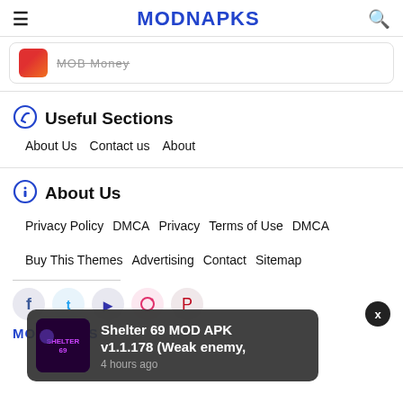MODNAPKS
MOB Money
Useful Sections
About Us   Contact us   About
About Us
Privacy Policy   DMCA   Privacy   Terms of Use   DMCA   Buy This Themes   Advertising   Contact   Sitemap
[Figure (other): Social media icons: Facebook, Twitter, YouTube, Instagram, Pinterest]
MODNAPKS
Shelter 69 MOD APK v1.1.178 (Weak enemy, 4 hours ago